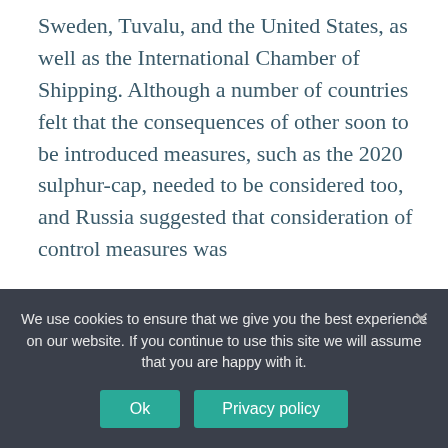Sweden, Tuvalu, and the United States, as well as the International Chamber of Shipping. Although a number of countries felt that the consequences of other soon to be introduced measures, such as the 2020 sulphur-cap, needed to be considered too, and Russia suggested that consideration of control measures was
With respect to the ongoing work to develop a ban on the use and carriage of heavy fuel oil in the Arctic, recent progress was noted including the
We use cookies to ensure that we give you the best experience on our website. If you continue to use this site we will assume that you are happy with it.